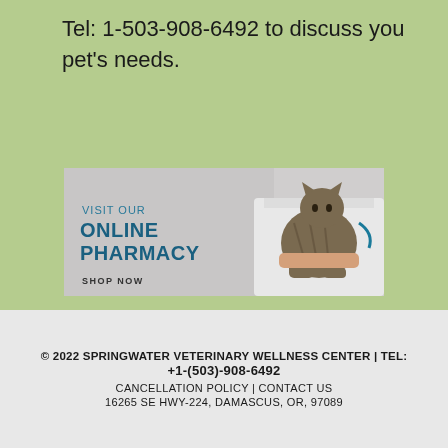Tel: 1-503-908-6492 to discuss you pet's needs.
[Figure (illustration): Online pharmacy advertisement banner showing a veterinarian in a white coat holding a large tabby cat, with text 'VISIT OUR ONLINE PHARMACY - SHOP NOW' on a grey background.]
© 2022 SPRINGWATER VETERINARY WELLNESS CENTER | TEL: +1-(503)-908-6492
CANCELLATION POLICY | CONTACT US
16265 SE HWY-224, DAMASCUS, OR, 97089